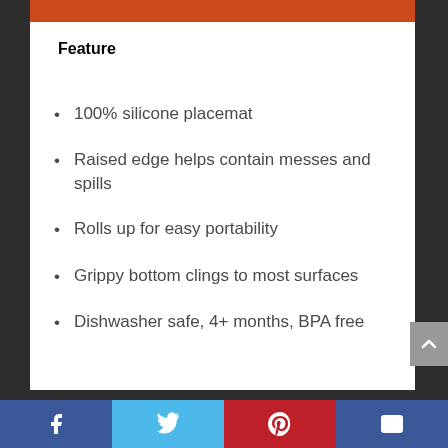Feature
100% silicone placemat
Raised edge helps contain messes and spills
Rolls up for easy portability
Grippy bottom clings to most surfaces
Dishwasher safe, 4+ months, BPA free
Facebook | Twitter | Pinterest | Email